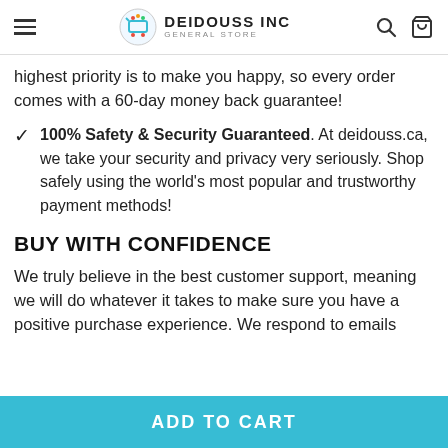DEIDOUSS INC GENERAL STORE
highest priority is to make you happy, so every order comes with a 60-day money back guarantee!
100% Safety & Security Guaranteed. At deidouss.ca, we take your security and privacy very seriously. Shop safely using the world's most popular and trustworthy payment methods!
BUY WITH CONFIDENCE
We truly believe in the best customer support, meaning we will do whatever it takes to make sure you have a positive purchase experience. We respond to emails within 24
ADD TO CART